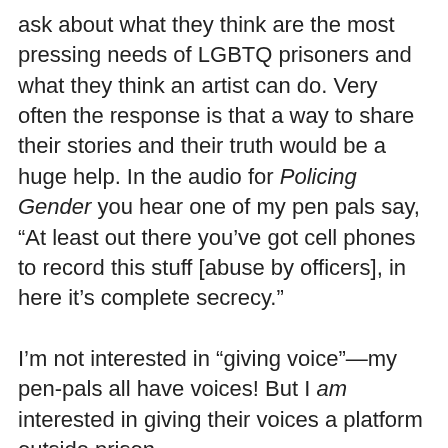ask about what they think are the most pressing needs of LGBTQ prisoners and what they think an artist can do. Very often the response is that a way to share their stories and their truth would be a huge help. In the audio for Policing Gender you hear one of my pen pals say, "At least out there you've got cell phones to record this stuff [abuse by officers], in here it's complete secrecy."

I'm not interested in "giving voice"—my pen-pals all have voices! But I am interested in giving their voices a platform outside prison.
Privacy & Cookies: This site uses cookies. By continuing to use this website, you agree to their use.
To find out more, including how to control cookies, see here: Cookie Policy